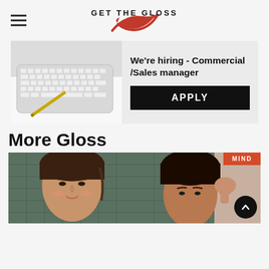GET THE GLOSS
[Figure (infographic): Advertisement banner: keyboard and pen photo on left, 'We're hiring - Commercial /Sales manager' text and black APPLY button on right]
More Gloss
[Figure (photo): Two side-by-side portrait photos of women; left photo shows a woman with braided hair against tiled wall; right photo shows a woman touching her temple, with a MIND category tag in orange top right and a scroll-up arrow button]